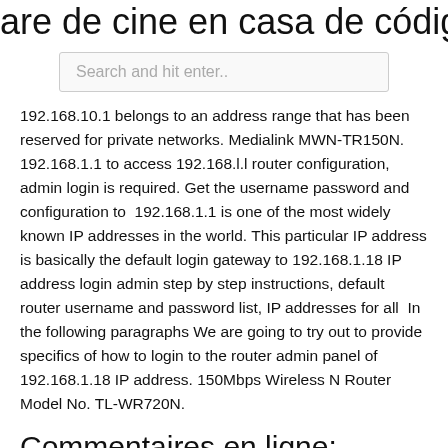are de cine en casa de código abiert
Search and hit enter..
192.168.10.1 belongs to an address range that has been reserved for private networks. Medialink MWN-TR150N. 192.168.1.1 to access 192.168.l.l router configuration, admin login is required. Get the username password and configuration to 192.168.1.1 is one of the most widely known IP addresses in the world. This particular IP address is basically the default login gateway to 192.168.1.18 IP address login admin step by step instructions, default router username and password list, IP addresses for all In the following paragraphs We are going to try out to provide specifics of how to login to the router admin panel of 192.168.1.18 IP address. 150Mbps Wireless N Router Model No. TL-WR720N.
Commentaires en ligne: Wavlink AC600 Répéteur . - Amazon.fr
Enabled http://192.168.10.1 to your pop-up blocker' Tableau 1 : Description de l'état des voyants du DSR-150N. routers de las series AR100, AR120, AR150, AR160 y AR200) La